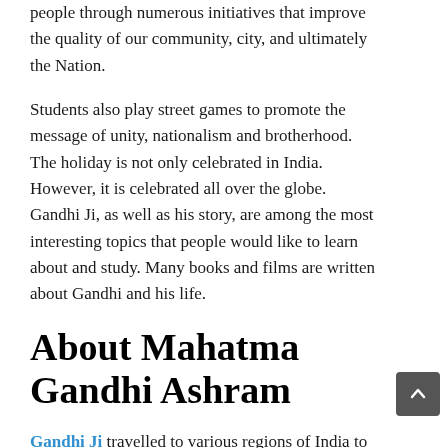people through numerous initiatives that improve the quality of our community, city, and ultimately the Nation.
Students also play street games to promote the message of unity, nationalism and brotherhood. The holiday is not only celebrated in India. However, it is celebrated all over the globe. Gandhi Ji, as well as his story, are among the most interesting topics that people would like to learn about and study. Many books and films are written about Gandhi and his life.
About Mahatma Gandhi Ashram
Gandhi Ji travelled to various regions of India to inspire the people of India to fight against British rule. In 1951 Gujarat (Ahmedabad), Gandhi Ji established an ashram. Gandhi Ji's was open for all classes and religious beliefs people. He spent most of his life in the temple. The year 1932 was the time when Gandhi Ji took part in a six-day fast to protect the decision of the British to break up the non-touchable…